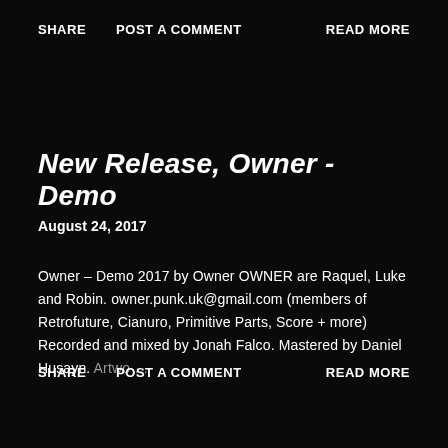SHARE   POST A COMMENT   READ MORE
New Release, Owner - Demo
August 24, 2017
Owner – Demo 2017 by Owner OWNER are Raquel, Luke and Robin. owner.punk.uk@gmail.com (members of Retrofuture, Cianuro, Primitive Parts, Score + more) Recorded and mixed by Jonah Falco. Mastered by Daniel Husayn. Artwo …
SHARE   POST A COMMENT   READ MORE